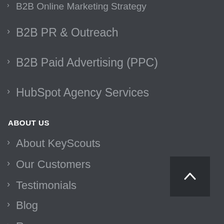› B2B Online Marketing Strategy
› B2B PR & Outreach
› B2B Paid Advertising (PPC)
› HubSpot Agency Services
ABOUT US
› About KeyScouts
› Our Customers
› Testimonials
› Blog
› Resources
› Careers